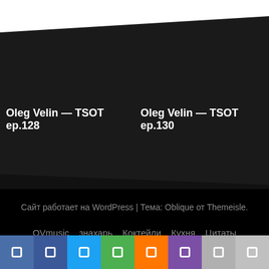Oleg Velin — TSOT ep.128
Oleg Velin — TSOT ep.130
Сайт работает на WordPress | Тема: Oblique от Themeisle.
OVmusic  знахарь  Коктейли  Кухня  Цитаты
Без рубрики  Мой аккаунт
[Figure (other): Social sharing buttons bar at bottom: blue, dark blue, cyan, green, orange, purple, light gray, gray]